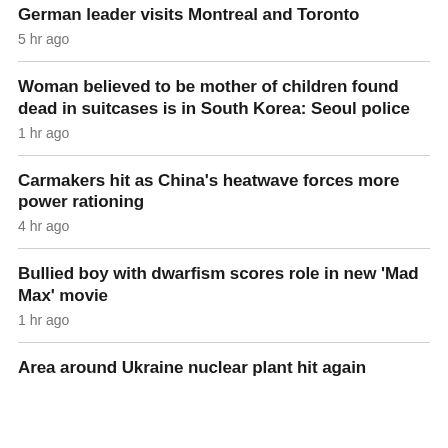German leader visits Montreal and Toronto
5 hr ago
Woman believed to be mother of children found dead in suitcases is in South Korea: Seoul police
1 hr ago
Carmakers hit as China's heatwave forces more power rationing
4 hr ago
Bullied boy with dwarfism scores role in new 'Mad Max' movie
1 hr ago
Area around Ukraine nuclear plant hit again